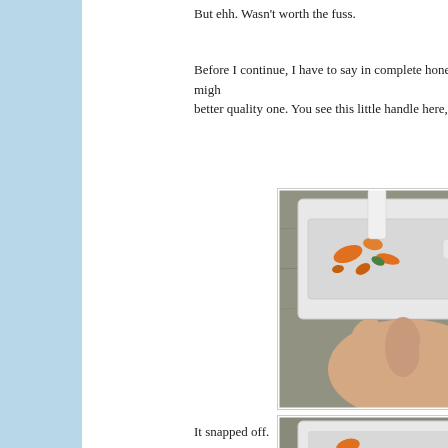But ehh. Wasn't worth the fuss.
Before I continue, I have to say in complete honesty, that it might be better quality one. You see this little handle here, used to push t
[Figure (photo): A hand holding a white plastic spiralizer/slicer kitchen gadget on a granite countertop, with orange vegetable pieces visible inside the device.]
It snapped off.
[Figure (photo): A white plastic spiralizer kitchen gadget on a granite countertop showing damage, with an X close button visible in the bottom right corner.]